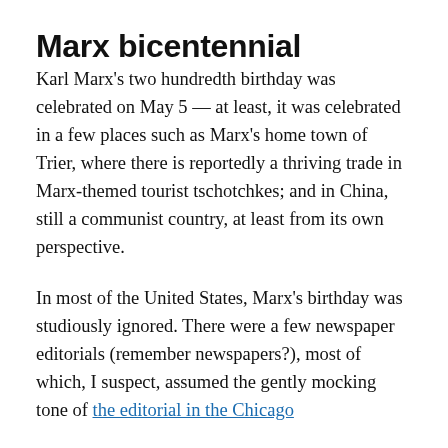Marx bicentennial
Karl Marx's two hundredth birthday was celebrated on May 5 — at least, it was celebrated in a few places such as Marx's home town of Trier, where there is reportedly a thriving trade in Marx-themed tourist tschotchkes; and in China, still a communist country, at least from its own perspective.
In most of the United States, Marx's birthday was studiously ignored. There were a few newspaper editorials (remember newspapers?), most of which, I suspect, assumed the gently mocking tone of the editorial in the Chicago